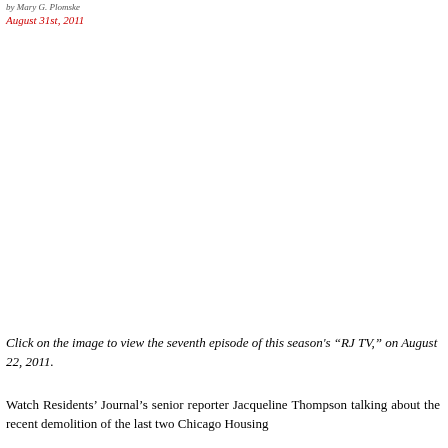by Mary G. Plomske
August 31st, 2011
[Figure (photo): Embedded video thumbnail or image placeholder (white/blank area) for RJ TV episode]
Click on the image to view the seventh episode of this season's “RJ TV,” on August 22, 2011.
Watch Residents’ Journal’s senior reporter Jacqueline Thompson talking about the recent demolition of the last two Chicago Housing